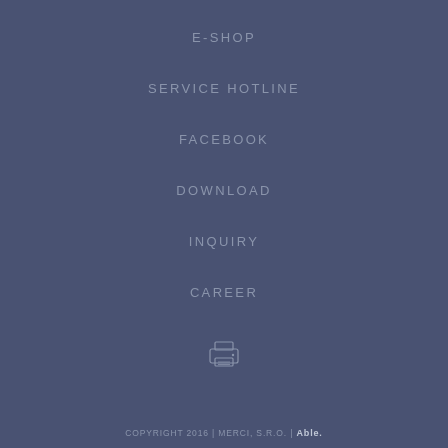E-SHOP
SERVICE HOTLINE
FACEBOOK
DOWNLOAD
INQUIRY
CAREER
[Figure (illustration): Printer icon outline in light blue-grey color]
COPYRIGHT 2016 | MERCI, S.R.O. | Able.